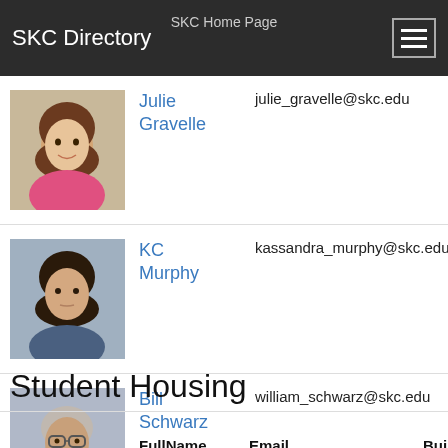SKC Home Page
SKC Directory
|  | FullName | Email | Building | Office Num |
| --- | --- | --- | --- | --- |
| [photo] | Julie Gravelle | julie_gravelle@skc.edu | Paul Charlot | 11... |
| [photo] | KC Murphy | kassandra_murphy@skc.edu | Paul Charlot | N... |
| [photo] | Bill Schwarz | william_schwarz@skc.edu | Paul Charlot | 11... |
Student Housing
|  | FullName | Email | Building | Office Num |
| --- | --- | --- | --- | --- |
| [photo partial] |  |  |  |  |